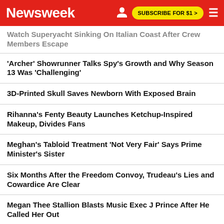Newsweek | SUBSCRIBE FOR $1 >
Watch Superyacht Sinking On Italian Coast After Crew Members Escape
'Archer' Showrunner Talks Spy's Growth and Why Season 13 Was 'Challenging'
3D-Printed Skull Saves Newborn With Exposed Brain
Rihanna's Fenty Beauty Launches Ketchup-Inspired Makeup, Divides Fans
Meghan's Tabloid Treatment 'Not Very Fair' Says Prime Minister's Sister
Six Months After the Freedom Convoy, Trudeau's Lies and Cowardice Are Clear
Megan Thee Stallion Blasts Music Exec J Prince After He Called Her Out